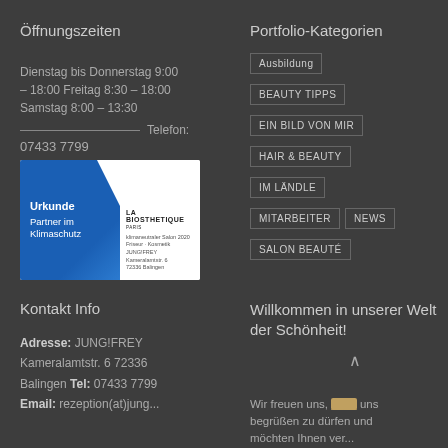Öffnungszeiten
Portfolio-Kategorien
Dienstag bis Donnerstag 9:00 – 18:00 Freitag 8:30 – 18:00 Samstag 8:00 – 13:30
Telefon: 07433 7799
[Figure (photo): Urkunde – Partner im Klimaschutz certificate from LA BIOSTHETIQUE, blue and white design]
Ausbildung
BEAUTY TIPPS
EIN BILD VON MIR
HAIR & BEAUTY
IM LÄNDLE
MITARBEITER
NEWS
SALON BEAUTÉ
Kontakt Info
Willkommen in unserer Welt der Schönheit!
Adresse: JUNG!FREY Kameralamtstr. 6 72336 Balingen Tel: 07433 7799 Email: rezeption(at)jung...
Wir freuen uns, [dass] uns begrüßen zu dürfen und möchten Ihnen ver...